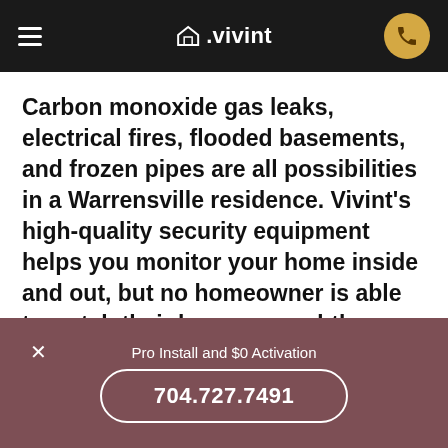≡  △.vivint  📞
Carbon monoxide gas leaks, electrical fires, flooded basements, and frozen pipes are all possibilities in a Warrensville residence. Vivint's high-quality security equipment helps you monitor your home inside and out, but no homeowner is able to watch their home around-the-clock, which is why we have a professional in-house monitoring team to do the job. We offer 24/7 monitoring and industry-leading response times, so whether an
Pro Install and $0 Activation
704.727.7491